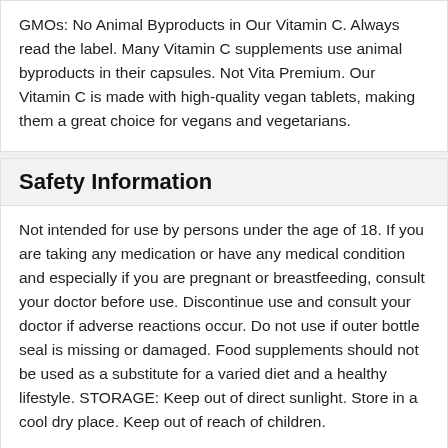GMOs: No Animal Byproducts in Our Vitamin C. Always read the label. Many Vitamin C supplements use animal byproducts in their capsules. Not Vita Premium. Our Vitamin C is made with high-quality vegan tablets, making them a great choice for vegans and vegetarians.
Safety Information
Not intended for use by persons under the age of 18. If you are taking any medication or have any medical condition and especially if you are pregnant or breastfeeding, consult your doctor before use. Discontinue use and consult your doctor if adverse reactions occur. Do not use if outer bottle seal is missing or damaged. Food supplements should not be used as a substitute for a varied diet and a healthy lifestyle. STORAGE: Keep out of direct sunlight. Store in a cool dry place. Keep out of reach of children.